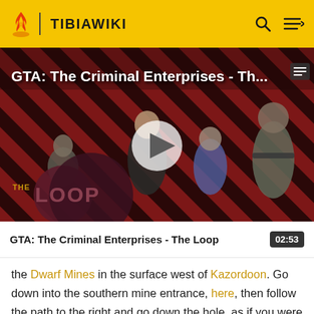TIBIAWIKI
[Figure (screenshot): GTA: The Criminal Enterprises - The Loop video thumbnail showing game characters on a red diagonal stripe background with THE LOOP logo overlay and a play button in the center]
GTA: The Criminal Enterprises - The Loop  02:53
the Dwarf Mines in the surface west of Kazordoon. Go down into the southern mine entrance, here, then follow the path to the right and go down the hole, as if you were